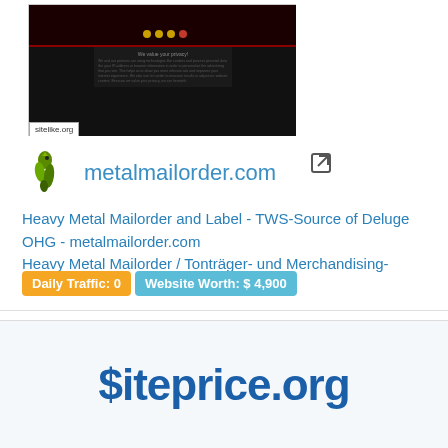[Figure (screenshot): Screenshot of metalmailorder.com site with dark background showing website thumbnail from sitelike.org]
metalmailorder.com
Heavy Metal Mailorder and Label - TWS-Source of Deluge OHG - metalmailorder.com
Heavy Metal Mailorder / Tonträger- und Merchandising-Versand
Daily Traffic: 0  Website Worth: $ 4,900
[Figure (logo): $iteprice.org logo in dark blue bold text]